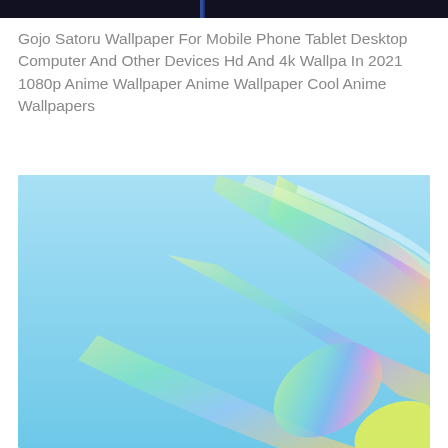[Figure (photo): Dark banner image at top of page, partially visible, appears to show an anime character silhouette against a dark background with a small blue/purple accent]
Gojo Satoru Wallpaper For Mobile Phone Tablet Desktop Computer And Other Devices Hd And 4k Wallpa In 2021 1080p Anime Wallpaper Anime Wallpaper Cool Anime Wallpapers
[Figure (photo): Light blue abstract wallpaper with a holographic iridescent diagonal swoosh element featuring rainbow gradient colors (green, yellow, orange, pink) against a soft sky blue background]